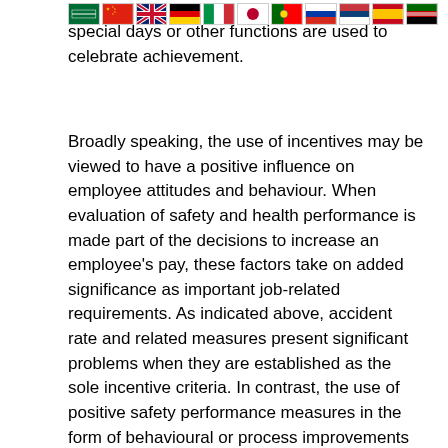[Figure (illustration): Row of country flags including Saudi Arabia, China, UK, Germany, Italy, Japan, Portugal, Russia, Serbia, Spain, Kenya]
special days or other functions are used to celebrate achievement.
Broadly speaking, the use of incentives may be viewed to have a positive influence on employee attitudes and behaviour. When evaluation of safety and health performance is made part of the decisions to increase an employee's pay, these factors take on added significance as important job-related requirements. As indicated above, accident rate and related measures present significant problems when they are established as the sole incentive criteria. In contrast, the use of positive safety performance measures in the form of behavioural or process improvements provide specificity for employee action and create an opportunity for frequent feedback and incentive distribution. The characteristics of successful incentive programmes appear to remedy some of the problems associated with performance criteria, programme abuse and the nature of employee participation. Although the research into these areas is far from complete, sufficient data